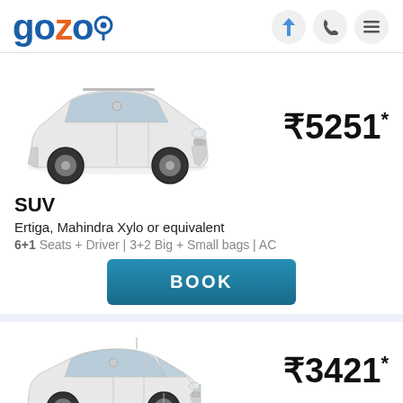gozo — header with lightning, phone, menu icons
[Figure (photo): White Maruti Ertiga SUV car facing left, front-three-quarter view]
₹5251*
SUV
Ertiga, Mahindra Xylo or equivalent
6+1 Seats + Driver | 3+2 Big + Small bags | AC
BOOK
[Figure (photo): White Toyota Etios sedan car, front-three-quarter view]
₹3421*